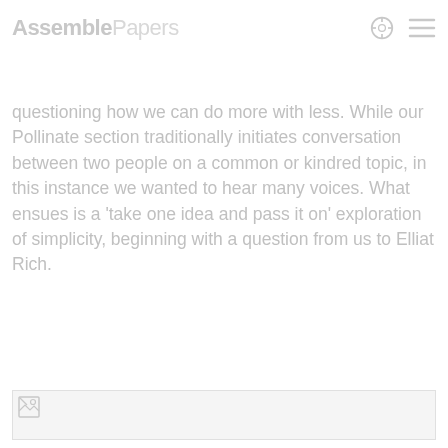Assemble Papers
questioning how we can do more with less. While our Pollinate section traditionally initiates conversation between two people on a common or kindred topic, in this instance we wanted to hear many voices. What ensues is a ‘take one idea and pass it on’ exploration of simplicity, beginning with a question from us to Elliat Rich.
[Figure (photo): Placeholder broken image icon at bottom of page]